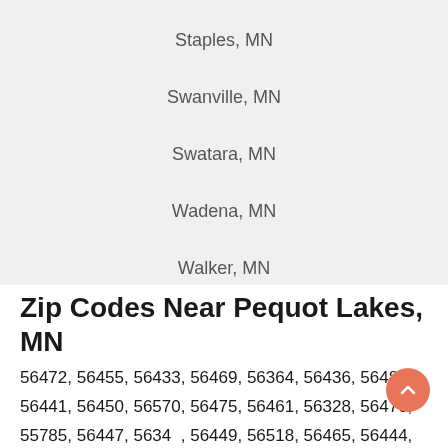Staples, MN
Swanville, MN
Swatara, MN
Wadena, MN
Walker, MN
Zip Codes Near Pequot Lakes, MN
56472, 56455, 56433, 56469, 56364, 56436, 56482, 56441, 56450, 56570, 56475, 56461, 56328, 56470, 55785, 56447, 56345, 56449, 56518, 56465, 56444, 56448, 56464, 56484, 56440, 56344, 56442, 56477, 56456, 56468, 55748, 56641, 56453, 56382, 56443, 56338,